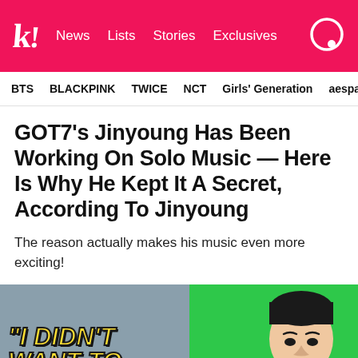k! News Lists Stories Exclusives
BTS BLACKPINK TWICE NCT Girls' Generation aespa
GOT7's Jinyoung Has Been Working On Solo Music — Here Is Why He Kept It A Secret, According To Jinyoung
The reason actually makes his music even more exciting!
[Figure (photo): Two-panel image: left panel shows grey background with yellow italic bold text reading '"I DIDN'T WANT TO'; right panel shows a man (Jinyoung) against a bright green background]